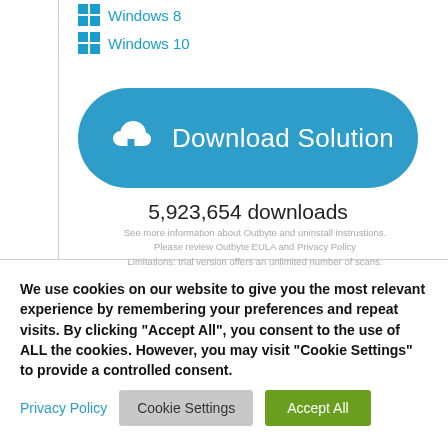Windows 8
Windows 10
[Figure (other): Download Solution button with cloud/download icon on blue rounded rectangle]
5,923,654 downloads
See more information about Outbyte and uninstall instrustions. Please review Outbyte EULA and Privacy Policy Limitations: trial version offers an unlimited number of scans, backup, restore of your windows registry for FREE. Full version must be purchased.
We use cookies on our website to give you the most relevant experience by remembering your preferences and repeat visits. By clicking “Accept All”, you consent to the use of ALL the cookies. However, you may visit "Cookie Settings" to provide a controlled consent.
Privacy Policy | Cookie Settings | Accept All